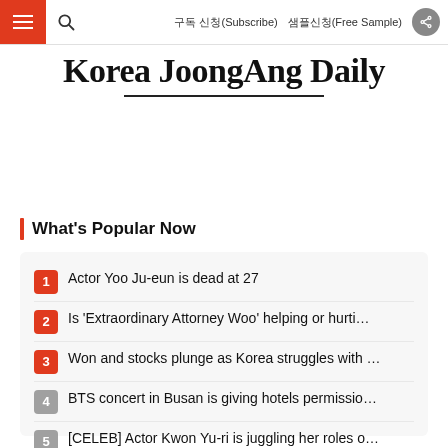Korea JoongAng Daily — 구독 신청(Subscribe)  샘플신청(Free Sample)
Korea JoongAng Daily
What's Popular Now
1 Actor Yoo Ju-eun is dead at 27
2 Is 'Extraordinary Attorney Woo' helping or hurti…
3 Won and stocks plunge as Korea struggles with …
4 BTS concert in Busan is giving hotels permissio…
5 [CELEB] Actor Kwon Yu-ri is juggling her roles o…
6 Yoon's options limited as economy in crisis
7 Several K-pop acts take home prizes from 2022 …